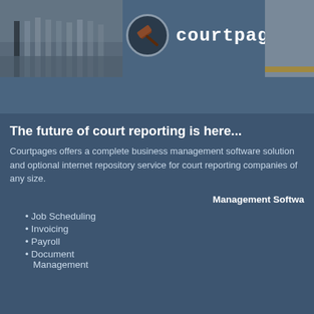courtpages inc
[Figure (logo): Courtpages Inc logo with gavel icon circle and courthouse building photograph on left side of header]
The future of court reporting is here...
Courtpages offers a complete business management software solution and optional internet repository service for court reporting companies of any size.
Management Software
Job Scheduling
Invoicing
Payroll
Document Management